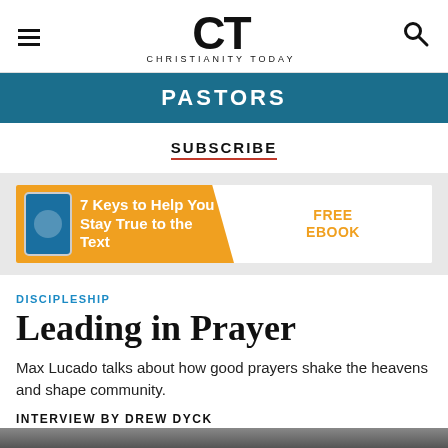CT CHRISTIANITY TODAY
PASTORS
SUBSCRIBE
[Figure (infographic): Advertisement banner: '7 Keys to Help You Stay True to the Text' with FREE EBOOK label, orange background with phone graphic on left side]
DISCIPLESHIP
Leading in Prayer
Max Lucado talks about how good prayers shake the heavens and shape community.
INTERVIEW BY DREW DYCK
ESPAÑOL